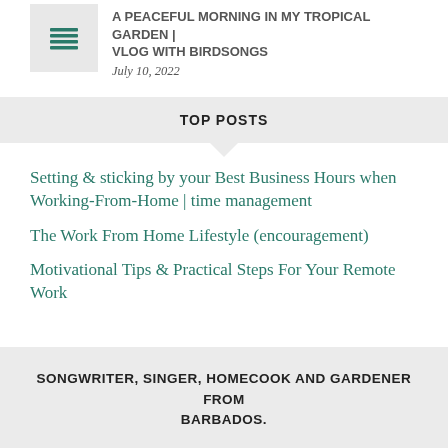A PEACEFUL MORNING IN MY TROPICAL GARDEN | VLOG WITH BIRDSONGS
July 10, 2022
TOP POSTS
Setting & sticking by your Best Business Hours when Working-From-Home | time management
The Work From Home Lifestyle (encouragement)
Motivational Tips & Practical Steps For Your Remote Work
SONGWRITER, SINGER, HOMECOOK AND GARDENER FROM BARBADOS.